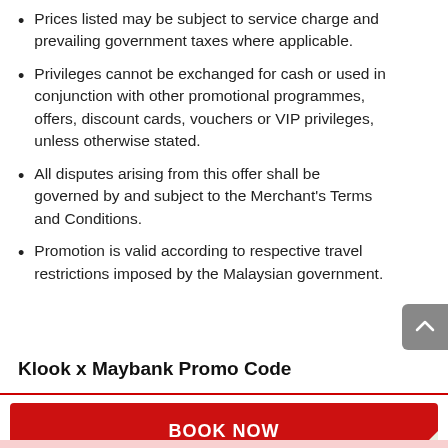Prices listed may be subject to service charge and prevailing government taxes where applicable.
Privileges cannot be exchanged for cash or used in conjunction with other promotional programmes, offers, discount cards, vouchers or VIP privileges, unless otherwise stated.
All disputes arising from this offer shall be governed by and subject to the Merchant's Terms and Conditions.
Promotion is valid according to respective travel restrictions imposed by the Malaysian government.
Klook x Maybank Promo Code
BOOK NOW